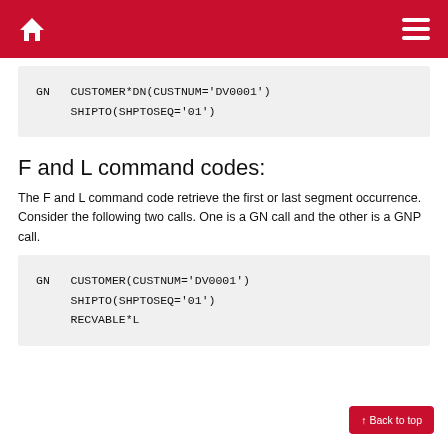GN   CUSTOMER*DN(CUSTNUM='DV0001')
     SHIPTO(SHPTOSEQ='01')
F and L command codes:
The F and L command code retrieve the first or last segment occurrence. Consider the following two calls. One is a GN call and the other is a GNP call.
GN   CUSTOMER(CUSTNUM='DV0001')
     SHIPTO(SHPTOSEQ='01')
     RECVABLE*L